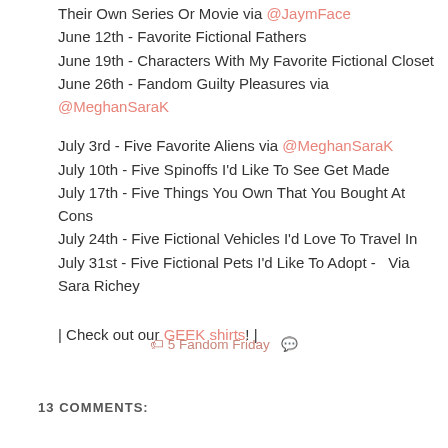Their Own Series Or Movie via @JaymFace
June 12th - Favorite Fictional Fathers
June 19th - Characters With My Favorite Fictional Closet
June 26th - Fandom Guilty Pleasures via @MeghanSaraK
July 3rd - Five Favorite Aliens via @MeghanSaraK
July 10th - Five Spinoffs I'd Like To See Get Made
July 17th - Five Things You Own That You Bought At Cons
July 24th - Five Fictional Vehicles I'd Love To Travel In
July 31st - Five Fictional Pets I'd Like To Adopt -  Via Sara Richey
| Check out our GEEK shirts! |
5 Fandom Friday
13 COMMENTS: